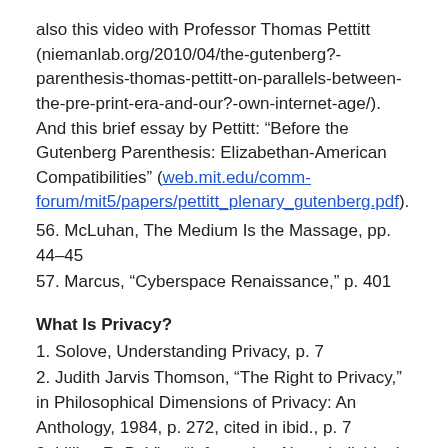also this video with Professor Thomas Pettitt (niemanlab.org/2010/04/the-gutenberg?-parenthesis-thomas-pettitt-on-parallels-between-the-pre-print-era-and-our?-own-internet-age/). And this brief essay by Pettitt: “Before the Gutenberg Parenthesis: Elizabethan-American Compatibilities” (web.mit.edu/comm-forum/mit5/papers/pettitt_plenary_gutenberg.pdf).
56. McLuhan, The Medium Is the Massage, pp. 44–45
57. Marcus, “Cyberspace Renaissance,” p. 401
What Is Privacy?
1. Solove, Understanding Privacy, p. 7
2. Judith Jarvis Thomson, “The Right to Privacy,” in Philosophical Dimensions of Privacy: An Anthology, 1984, p. 272, cited in ibid., p. 7
3. Lillian R. BeVier, “Information About Individuals in the Hands of Government: Some Reflections on Privacy Protection,” William and Mary Bill of Rights Journal, 1995, p. 458, cited in Solove, Understanding Privacy, p. 7